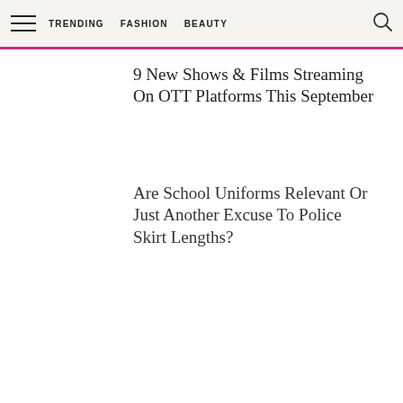TRENDING  FASHION  BEAUTY
9 New Shows & Films Streaming On OTT Platforms This September
Are School Uniforms Relevant Or Just Another Excuse To Police Skirt Lengths?